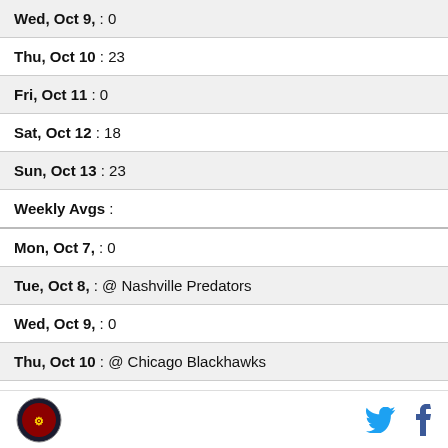Wed, Oct 9, : 0
Thu, Oct 10 : 23
Fri, Oct 11 : 0
Sat, Oct 12 : 18
Sun, Oct 13 : 23
Weekly Avgs :
Mon, Oct 7, : 0
Tue, Oct 8, : @ Nashville Predators
Wed, Oct 9, : 0
Thu, Oct 10 : @ Chicago Blackhawks
Fri, Oct 11 : 0
[logo] [twitter] [facebook]